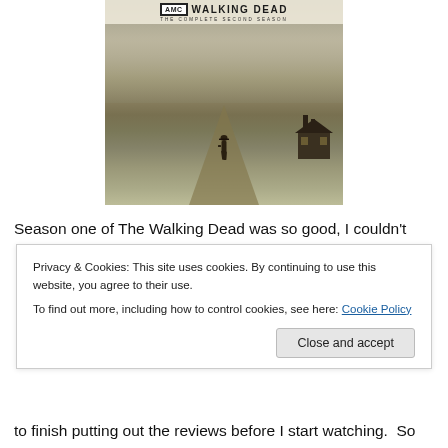[Figure (photo): The Walking Dead: The Complete Second Season DVD/Blu-ray cover art showing a figure walking away down a dirt road toward a farmhouse, with a stormy sky. AMC logo and 'THE WALKING DEAD - THE COMPLETE SECOND SEASON' text at top.]
Season one of The Walking Dead was so good, I couldn't
Privacy & Cookies: This site uses cookies. By continuing to use this website, you agree to their use.
To find out more, including how to control cookies, see here: Cookie Policy
Close and accept
to finish putting out the reviews before I start watching.  So